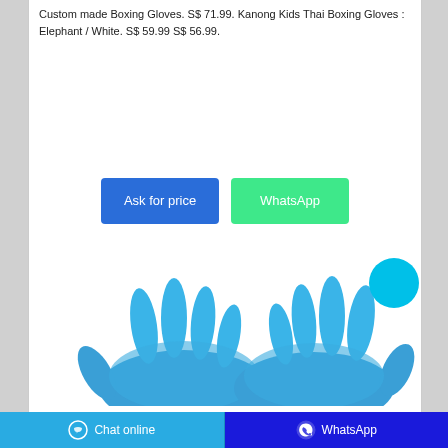Custom made Boxing Gloves. S$ 71.99. Kanong Kids Thai Boxing Gloves : Elephant / White. S$ 59.99 S$ 56.99.
[Figure (illustration): Two blue nitrile examination gloves displayed side by side against a white background]
Chat online | WhatsApp